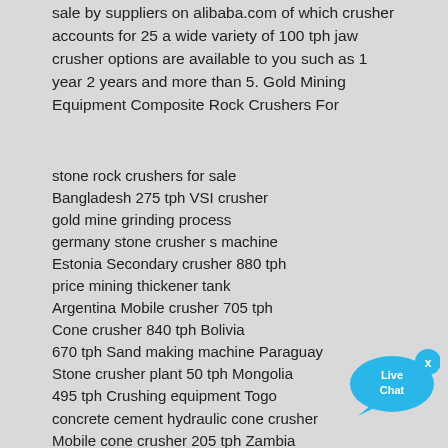sale by suppliers on alibaba.com of which crusher accounts for 25 a wide variety of 100 tph jaw crusher options are available to you such as 1 year 2 years and more than 5. Gold Mining Equipment Composite Rock Crushers For
stone rock crushers for sale
Bangladesh 275 tph VSI crusher
gold mine grinding process
germany stone crusher s machine
Estonia Secondary crusher 880 tph
price mining thickener tank
Argentina Mobile crusher 705 tph
Cone crusher 840 tph Bolivia
670 tph Sand making machine Paraguay
Stone crusher plant 50 tph Mongolia
495 tph Crushing equipment Togo
concrete cement hydraulic cone crusher
Mobile cone crusher 205 tph Zambia
Morocco Crusher machine 490 tph
expanded perlite machine
Jaw Crusher Quartz Mining
implementation process of s gold ore dressing project
Tertiary crushing 580 tph Nepal
Afghanistan 60 tph Granite crusher
625 tph Mobile crusher Djibouti
ball mill in chemical separating high production
[Figure (illustration): Live Chat button — blue speech bubble with 'Live Chat' text and a small x close icon]